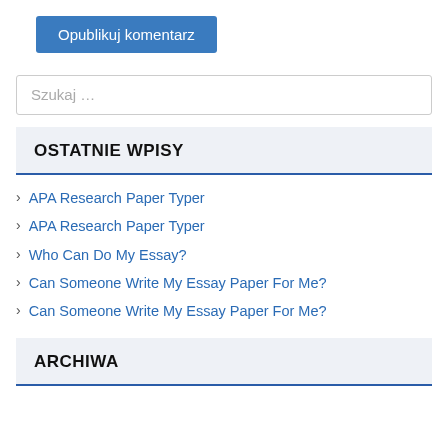Opublikuj komentarz
Szukaj …
OSTATNIE WPISY
APA Research Paper Typer
APA Research Paper Typer
Who Can Do My Essay?
Can Someone Write My Essay Paper For Me?
Can Someone Write My Essay Paper For Me?
ARCHIWA